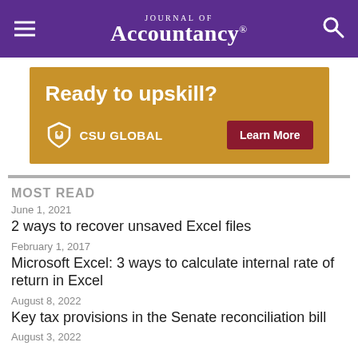Journal of Accountancy
[Figure (infographic): CSU Global advertisement banner with gold background. Text: 'Ready to upskill?' and 'CSU GLOBAL' with a shield logo and a 'Learn More' button on dark red background.]
MOST READ
June 1, 2021
2 ways to recover unsaved Excel files
February 1, 2017
Microsoft Excel: 3 ways to calculate internal rate of return in Excel
August 8, 2022
Key tax provisions in the Senate reconciliation bill
August 3, 2022